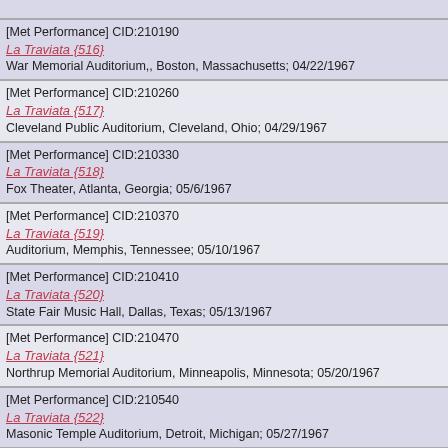[Met Performance] CID:210190
La Traviata {516}
War Memorial Auditorium,, Boston, Massachusetts; 04/22/1967
[Met Performance] CID:210260
La Traviata {517}
Cleveland Public Auditorium, Cleveland, Ohio; 04/29/1967
[Met Performance] CID:210330
La Traviata {518}
Fox Theater, Atlanta, Georgia; 05/6/1967
[Met Performance] CID:210370
La Traviata {519}
Auditorium, Memphis, Tennessee; 05/10/1967
[Met Performance] CID:210410
La Traviata {520}
State Fair Music Hall, Dallas, Texas; 05/13/1967
[Met Performance] CID:210470
La Traviata {521}
Northrup Memorial Auditorium, Minneapolis, Minnesota; 05/20/1967
[Met Performance] CID:210540
La Traviata {522}
Masonic Temple Auditorium, Detroit, Michigan; 05/27/1967
[Met Performance] CID:210600
La Traviata {523}
Philadelphia Civic Center, Philadelphia, Pennsylvania; 06/2/1967
Top of Page